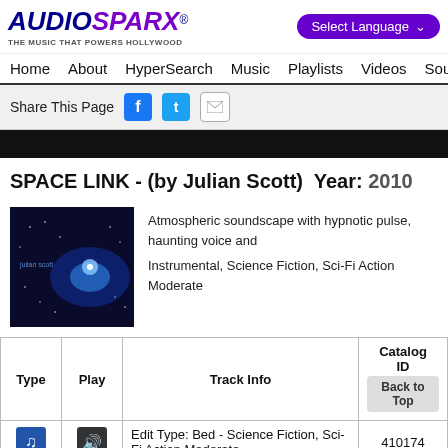AUDIOSPARX - THE MUSIC THAT POWERS HOLLYWOOD | Select Language
Home | About | HyperSearch | Music | Playlists | Videos | Sound
Share This Page
SPACE LINK - (by Julian Scott)  Year: 2010
Atmospheric soundscape with hypnotic pulse, haunting voice and
Instrumental, Science Fiction, Sci-Fi Action Moderate
| Type | Play | Track Info | Catalog ID |
| --- | --- | --- | --- |
| [music icon] | [speaker icon] | Edit Type: Bed - Science Fiction, Sci-Fi Action Moderate | 410174 |